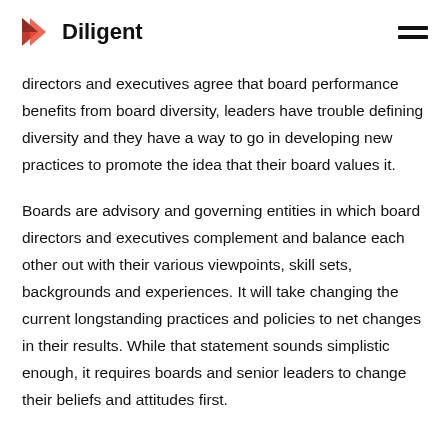Diligent
directors and executives agree that board performance benefits from board diversity, leaders have trouble defining diversity and they have a way to go in developing new practices to promote the idea that their board values it.
Boards are advisory and governing entities in which board directors and executives complement and balance each other out with their various viewpoints, skill sets, backgrounds and experiences. It will take changing the current longstanding practices and policies to net changes in their results. While that statement sounds simplistic enough, it requires boards and senior leaders to change their beliefs and attitudes first.